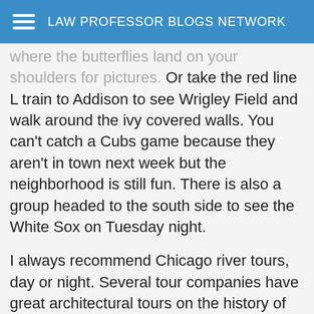LAW PROFESSOR BLOGS NETWORK
where the butterflies land on your shoulders for pictures. Or take the red line L train to Addison to see Wrigley Field and walk around the ivy covered walls. You can't catch a Cubs game because they aren't in town next week but the neighborhood is still fun. There is also a group headed to the south side to see the White Sox on Tuesday night.
I always recommend Chicago river tours, day or night. Several tour companies have great architectural tours on the history of Chicago including all the different stages of its development.
For a fancy dinner with a view, head to the "Signature Room" Restaurant on the 95th floor of the Hancock Tower. Tip the head waiter and ask for a table at the west windows or south windows. If you don't want dinner, have a drink at the bar and